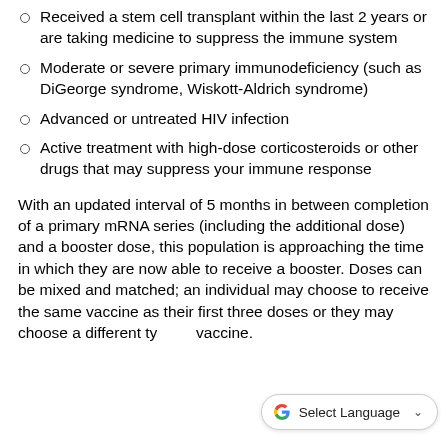Received a stem cell transplant within the last 2 years or are taking medicine to suppress the immune system
Moderate or severe primary immunodeficiency (such as DiGeorge syndrome, Wiskott-Aldrich syndrome)
Advanced or untreated HIV infection
Active treatment with high-dose corticosteroids or other drugs that may suppress your immune response
With an updated interval of 5 months in between completion of a primary mRNA series (including the additional dose) and a booster dose, this population is approaching the time in which they are now able to receive a booster. Doses can be mixed and matched; an individual may choose to receive the same vaccine as their first three doses or they may choose a different type of vaccine.